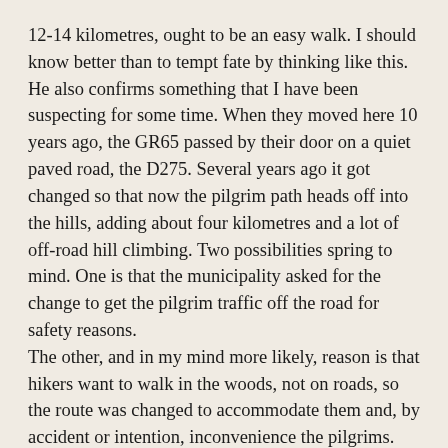12-14 kilometres, ought to be an easy walk. I should know better than to tempt fate by thinking like this.
He also confirms something that I have been suspecting for some time. When they moved here 10 years ago, the GR65 passed by their door on a quiet paved road, the D275. Several years ago it got changed so that now the pilgrim path heads off into the hills, adding about four kilometres and a lot of off-road hill climbing. Two possibilities spring to mind. One is that the municipality asked for the change to get the pilgrim traffic off the road for safety reasons.
The other, and in my mind more likely, reason is that hikers want to walk in the woods, not on roads, so the route was changed to accommodate them and, by accident or intention, inconvenience the pilgrims. While we pilgrims are happy to see the woods and hills, we also want a direct route to our next bed. Roads are good, too.